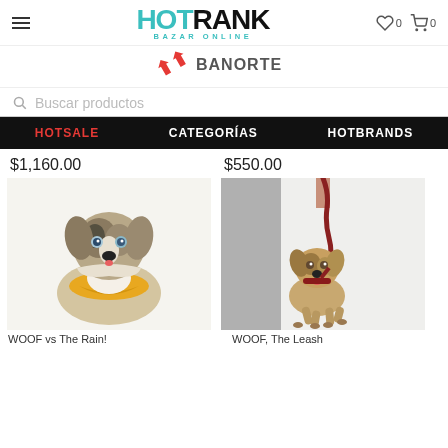HOTRANK BAZAR ONLINE
[Figure (logo): Banorte logo with red arrow/swoosh icon and BANORTE text]
Buscar productos
HOTSALE  CATEGORÍAS  HOTBRANDS
$1,160.00  $550.00
[Figure (photo): Australian Shepherd dog with yellow bandana/scarf around neck, looking at camera on white background (WOOF vs The Rain)]
[Figure (photo): Australian Shepherd dog walking on leash being held by person's hand, on white background (WOOF The Leash)]
WOOF vs The Rain!
WOOF, The Leash